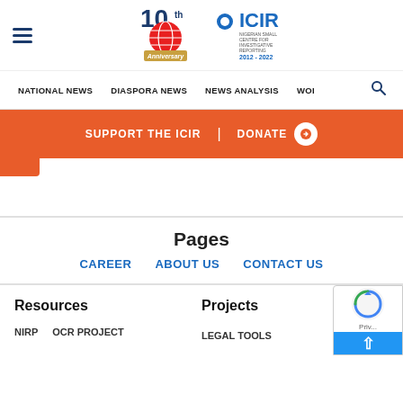[Figure (logo): ICIR 10th Anniversary logo with globe and text '2012-2022']
NATIONAL NEWS  DIASPORA NEWS  NEWS ANALYSIS  WOI
SUPPORT THE ICIR  |  DONATE
Pages
CAREER
ABOUT US
CONTACT US
Resources
Projects
NIRP  OCR PROJECT
LEGAL TOOLS